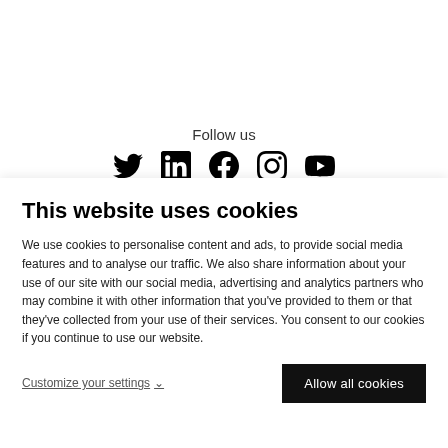Follow us
[Figure (illustration): Social media icons row: Twitter, LinkedIn, Facebook, Instagram, YouTube]
This website uses cookies
We use cookies to personalise content and ads, to provide social media features and to analyse our traffic. We also share information about your use of our site with our social media, advertising and analytics partners who may combine it with other information that you've provided to them or that they've collected from your use of their services. You consent to our cookies if you continue to use our website.
Customize your settings
Allow all cookies